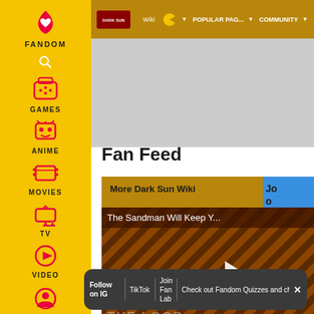[Figure (screenshot): Fandom website sidebar with logo, FANDOM label, search icon, GAMES icon, ANIME icon, MOVIES icon, TV icon, VIDEO icon, and user icon on yellow background]
Wiki | AA | POPULAR PAG... | COMMUNITY
Fan Feed
More Dark Sun Wiki
[Figure (screenshot): Video overlay showing 'The Sandman Will Keep Y...' with striped background and play button, X close button]
Follow on IG   TikTok   Join Fan Lab   Check out Fandom Quizzes and cha
Latest   View